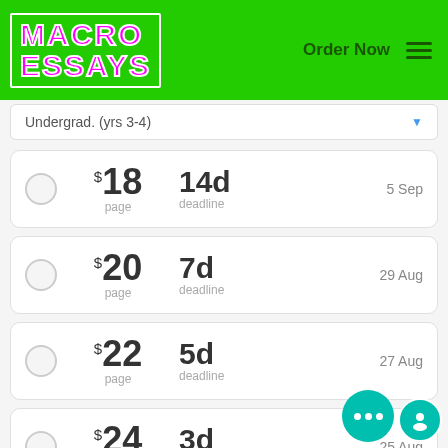MACRO ESSAYS | Order Now
Undergrad. (yrs 3-4)
$18 per page, 14d deadline, 5 Sep
$20 per page, 7d deadline, 29 Aug
$22 per page, 5d deadline, 27 Aug
$24 per page, 3d deadline, 25 Aug
$26 per page, 2d deadline, 24 Aug